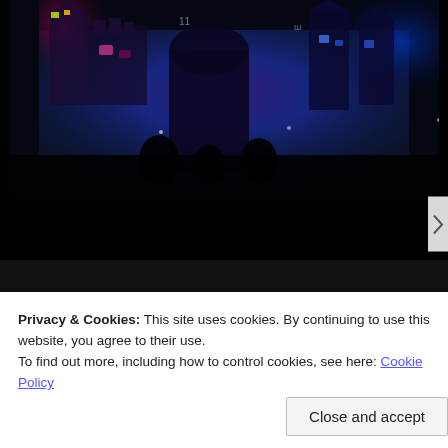[Figure (photo): Night photo of a castle building illuminated with colorful blue, purple, and pink projection lighting, with silhouettes of people visible at the bottom]
Privacy & Cookies: This site uses cookies. By continuing to use this website, you agree to their use.
To find out more, including how to control cookies, see here: Cookie Policy
Close and accept